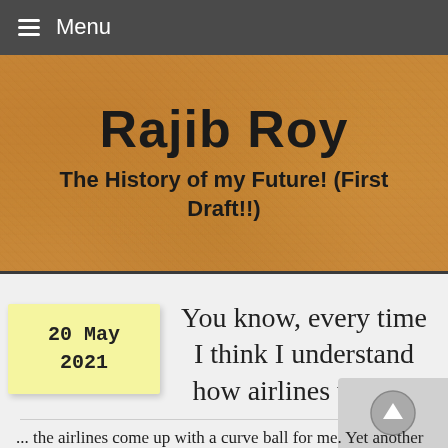≡ Menu
Rajib Roy
The History of my Future! (First Draft!!)
20 May 2021
You know, every time I think I understand how airlines work...
... the airlines come up with a curve ball for me. Yet another